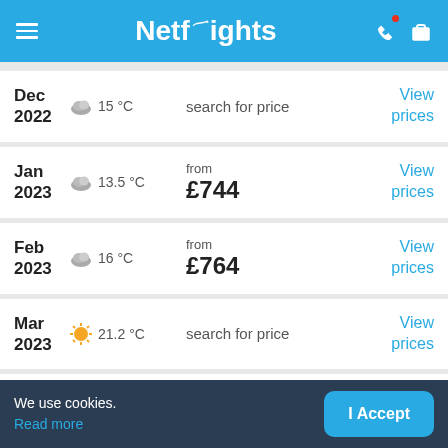Netflights
Dec 2022 | 15°C | search for price | View prices
Jan 2023 | 13.5°C | from £744 | View prices
Feb 2023 | 16°C | from £764 | View prices
Mar 2023 | 21.2°C | search for price | View prices
Apr | 27.4°C | search for price | View
We use cookies. Read more
I Accept